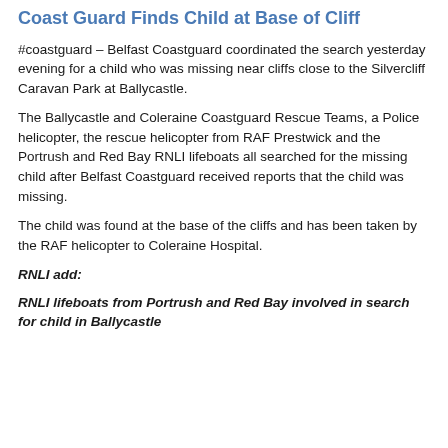Coast Guard Finds Child at Base of Cliff
#coastguard – Belfast Coastguard coordinated the search yesterday evening for a child who was missing near cliffs close to the Silvercliff Caravan Park at Ballycastle.
The Ballycastle and Coleraine Coastguard Rescue Teams, a Police helicopter, the rescue helicopter from RAF Prestwick and the Portrush and Red Bay RNLI lifeboats all searched for the missing child after Belfast Coastguard received reports that the child was missing.
The child was found at the base of the cliffs and has been taken by the RAF helicopter to Coleraine Hospital.
RNLI add:
RNLI lifeboats from Portrush and Red Bay involved in search for child in Ballycastle